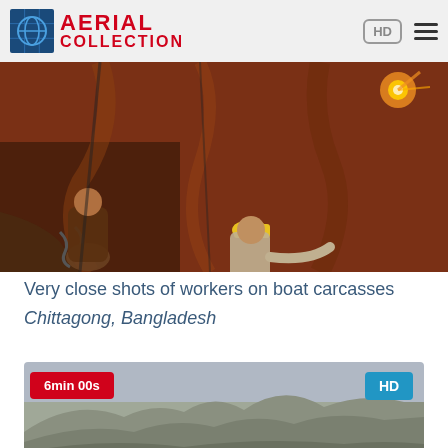AERIAL COLLECTION
[Figure (photo): Close-up photo of workers on a rusty red-brown boat hull/carcass in a shipyard, one worker wearing a yellow hard hat]
Very close shots of workers on boat carcasses
Chittagong, Bangladesh
[Figure (photo): Aerial/landscape photo showing mountainous terrain with hazy hills and a valley, shown as a video thumbnail with 6min 00s duration badge and HD badge]